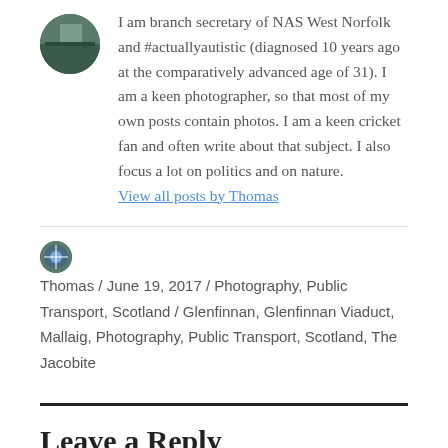I am branch secretary of NAS West Norfolk and #actuallyautistic (diagnosed 10 years ago at the comparatively advanced age of 31). I am a keen photographer, so that most of my own posts contain photos. I am a keen cricket fan and often write about that subject. I also focus a lot on politics and on nature.
View all posts by Thomas
Thomas / June 19, 2017 / Photography, Public Transport, Scotland / Glenfinnan, Glenfinnan Viaduct, Mallaig, Photography, Public Transport, Scotland, The Jacobite
Leave a Reply